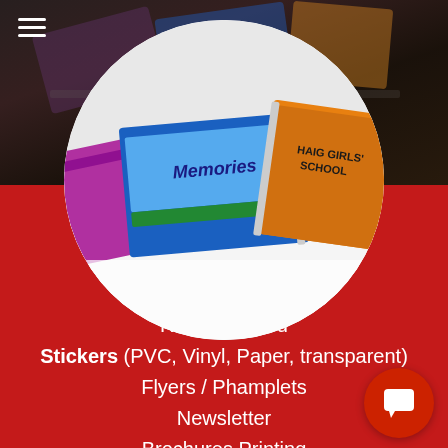[Figure (photo): Circular cropped photo of colorful spiral-bound notebooks including blue, purple/pink and orange notebooks. The orange notebook is labeled 'Haig Girls' School'. Displayed on a white surface.]
Removal Card
Stickers (PVC, Vinyl, Paper, transparent)
Flyers / Phamplets
Newsletter
Brochures Printing
Postcard
Wobbler
Customise Booklets